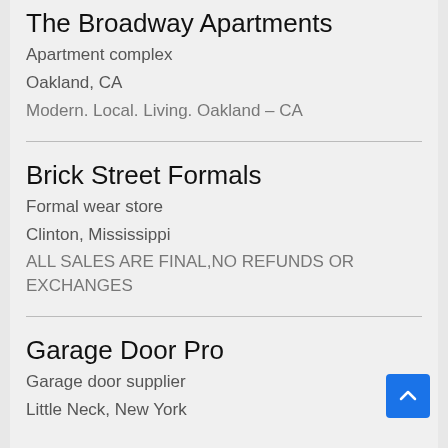The Broadway Apartments
Apartment complex
Oakland, CA
Modern. Local. Living. Oakland – CA
Brick Street Formals
Formal wear store
Clinton, Mississippi
ALL SALES ARE FINAL,NO REFUNDS OR EXCHANGES
Garage Door Pro
Garage door supplier
Little Neck, New York